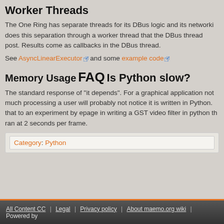Worker Threads
The One Ring has separate threads for its DBus logic and its networking does this separation through a worker thread that the DBus thread post. Results come as callbacks in the DBus thread.
See AsyncLinearExecutor and some example code
Memory Usage
FAQ
Is Python slow?
The standard response of "it depends". For a graphical application not much processing a user will probably not notice it is written in Python. that to an experiment by epage in writing a GST video filter in python th ran at 2 seconds per frame.
Category: Python
All Content CC | Legal | Privacy policy | About maemo.org wiki | Powered by